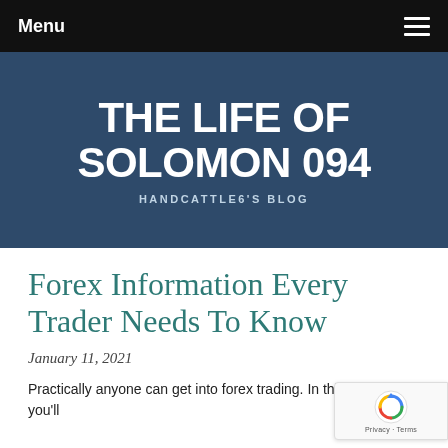Menu
THE LIFE OF SOLOMON 094
HANDCATTLE6'S BLOG
Forex Information Every Trader Needs To Know
January 11, 2021
Practically anyone can get into forex trading. In this article, you'll